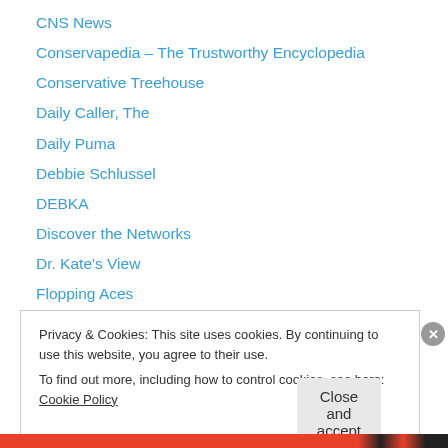CNS News
Conservapedia – The Trustworthy Encyclopedia
Conservative Treehouse
Daily Caller, The
Daily Puma
Debbie Schlussel
DEBKA
Discover the Networks
Dr. Kate's View
Flopping Aces
FOX News
Free Republic
Gateway Pundit
Privacy & Cookies: This site uses cookies. By continuing to use this website, you agree to their use.
To find out more, including how to control cookies, see here: Cookie Policy
Close and accept